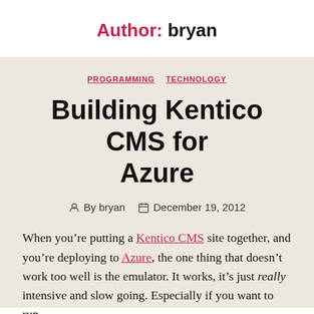Author: bryan
PROGRAMMING   TECHNOLOGY
Building Kentico CMS for Azure
By bryan   December 19, 2012
When you're putting a Kentico CMS site together, and you're deploying to Azure, the one thing that doesn't work too well is the emulator. It works, it's just really intensive and slow going. Especially if you want to run